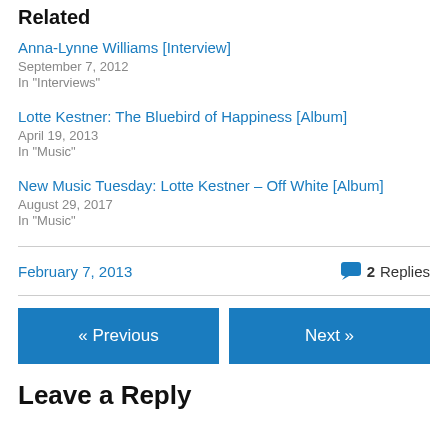Related
Anna-Lynne Williams [Interview]
September 7, 2012
In "Interviews"
Lotte Kestner: The Bluebird of Happiness [Album]
April 19, 2013
In "Music"
New Music Tuesday: Lotte Kestner – Off White [Album]
August 29, 2017
In "Music"
February 7, 2013    2 Replies
« Previous    Next »
Leave a Reply